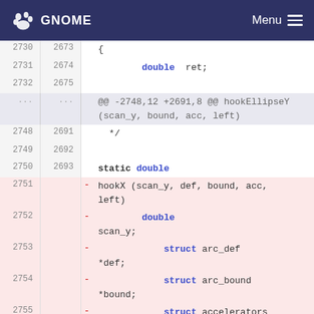GNOME  Menu
[Figure (screenshot): GNOME developer documentation code diff viewer showing C source code changes. Lines 2730-2756 visible. Lines 2751-2756 shown as removed (pink background). Diff shows hookX function declaration being removed with parameters scan_y, def, bound, acc, left. Keywords double, struct, int highlighted in blue bold.]